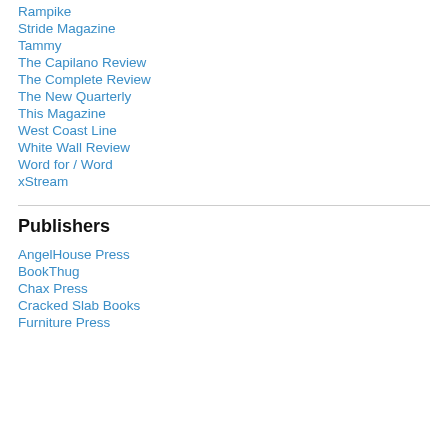Rampike
Stride Magazine
Tammy
The Capilano Review
The Complete Review
The New Quarterly
This Magazine
West Coast Line
White Wall Review
Word for / Word
xStream
Publishers
AngelHouse Press
BookThug
Chax Press
Cracked Slab Books
Furniture Press